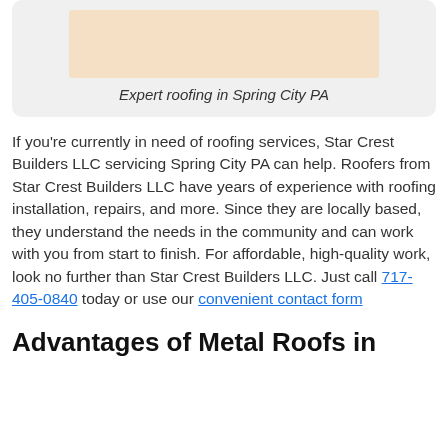[Figure (photo): Image placeholder with peach/tan background representing expert roofing in Spring City PA]
Expert roofing in Spring City PA
If you're currently in need of roofing services, Star Crest Builders LLC servicing Spring City PA can help. Roofers from Star Crest Builders LLC have years of experience with roofing installation, repairs, and more. Since they are locally based, they understand the needs in the community and can work with you from start to finish. For affordable, high-quality work, look no further than Star Crest Builders LLC. Just call 717-405-0840 today or use our convenient contact form
Advantages of Metal Roofs in